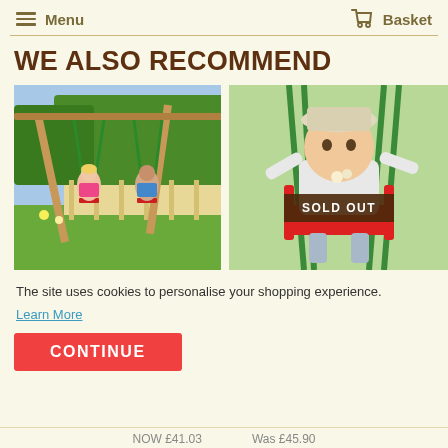Menu   Basket
WE ALSO RECOMMEND
[Figure (photo): Two children sitting on garden swings attached to a wooden swing frame, outdoors on grass with trees and a fence in background]
[Figure (photo): Baby/toddler sitting in a red baby swing seat with rope, wearing a hat, with a SOLD OUT badge overlay]
The site uses cookies to personalise your shopping experience.
Learn More
CONTINUE
NOW £41.03   Was £45.90